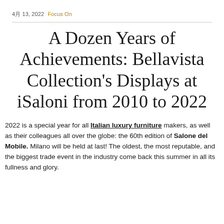4月 13, 2022  Focus On
A Dozen Years of Achievements: Bellavista Collection's Displays at iSaloni from 2010 to 2022
2022 is a special year for all Italian luxury furniture makers, as well as their colleagues all over the globe: the 60th edition of Salone del Mobile. Milano will be held at last! The oldest, the most reputable, and the biggest trade event in the industry come back this summer in all its fullness and glory.